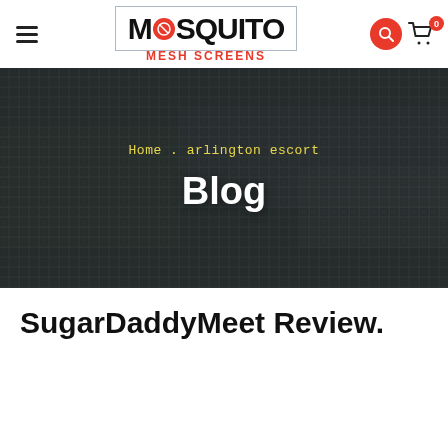[Figure (logo): Mosquito Mesh Screens logo with hamburger menu, search button, and cart icon (0 items) in site header]
[Figure (photo): Hero banner showing a mosquito mesh screen close-up with blurred outdoor background. Breadcrumb text 'Home . arlington escort' and 'Blog' title overlaid in center.]
SugarDaddyMeet Review.